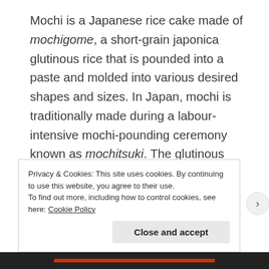Mochi is a Japanese rice cake made of mochigome, a short-grain japonica glutinous rice that is pounded into a paste and molded into various desired shapes and sizes. In Japan, mochi is traditionally made during a labour-intensive mochi-pounding ceremony known as mochitsuki. The glutinous rice is first soaked overnight and then steamed. The steamed rice is then mashed and pounded using wooden mallets (kine) in a traditional mortar (usu). The process involves two people, one pounding and the other turning and wetting the substance (mochi). The two must keep a steady rhythm or they may
Privacy & Cookies: This site uses cookies. By continuing to use this website, you agree to their use.
To find out more, including how to control cookies, see here: Cookie Policy
Close and accept